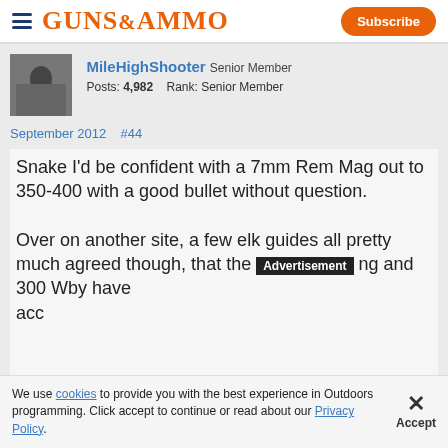GUNS&AMMO | Subscribe
[Figure (photo): User avatar thumbnail showing a dark silhouette/wildlife photo]
MileHighShooter Senior Member
Posts: 4,982    Rank: Senior Member
September 2012    #44
Snake I'd be confident with a 7mm Rem Mag out to 350-400 with a good bullet without question.

Over on another site, a few elk guides all pretty much agreed though, that the [Advertisement] ng and 300 Wby have acc[obscured by ad]
We use cookies to provide you with the best experience in Outdoors programming. Click accept to continue or read about our Privacy Policy.